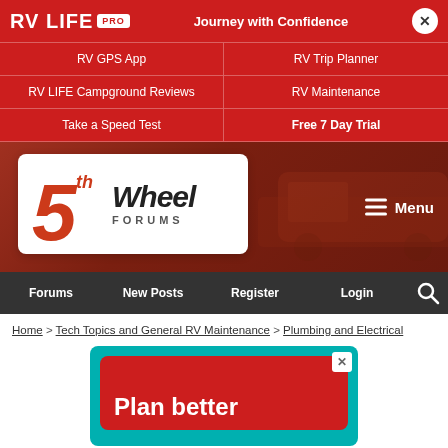RV LIFE PRO — Journey with Confidence
RV GPS App
RV Trip Planner
RV LIFE Campground Reviews
RV Maintenance
Take a Speed Test
Free 7 Day Trial
[Figure (logo): 5th Wheel Forums logo with large orange 5 and italic Wheel text, set on white rounded rectangle over dark red RV background]
Menu
Forums | New Posts | Register | Login
Home > Tech Topics and General RV Maintenance > Plumbing and Electrical
[Figure (screenshot): Advertisement banner with teal background and red inner rounded rectangle showing text 'Plan better' in white bold font]